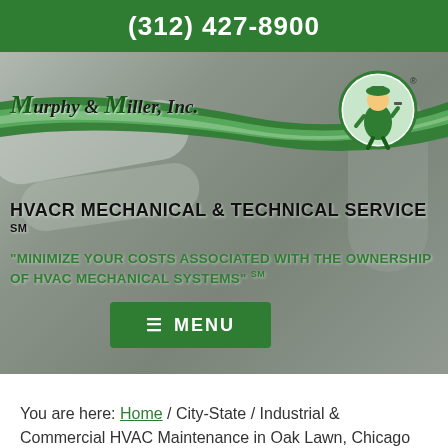(312) 427-8900
[Figure (screenshot): Murphy & Miller Inc. HVAC company website hero banner with logo, mascot, green swoosh ribbon, and background mechanical equipment image. Contains company title 'HVACR MECHANICAL & TECHNICAL SERVICE SM', tagline 'MINIMIZE YOUR COSTS ASSOCIATED WITH THE OWNERSHIP OF HVAC MECHANICAL SYSTEMS SM', and a green MENU button.]
You are here: Home / City-State / Industrial & Commercial HVAC Maintenance in Oak Lawn, Chicago